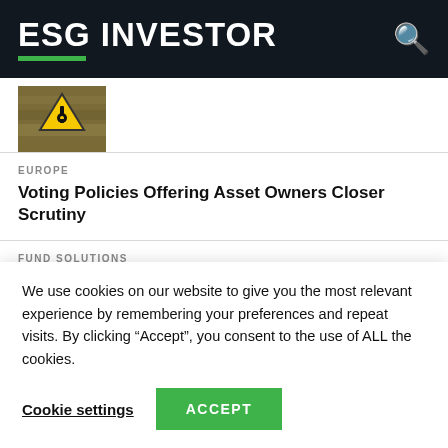ESG INVESTOR
[Figure (photo): Thumbnail image showing a field with a radiation/hazard warning sign]
EUROPE
Voting Policies Offering Asset Owners Closer Scrutiny
FUND SOLUTIONS
Circular Support for Asset Owners' Climate and Biodiversity Goals
COMMENTARY
We use cookies on our website to give you the most relevant experience by remembering your preferences and repeat visits. By clicking “Accept”, you consent to the use of ALL the cookies.
Cookie settings    ACCEPT